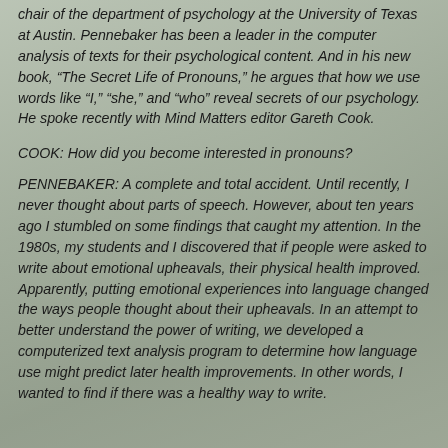chair of the department of psychology at the University of Texas at Austin. Pennebaker has been a leader in the computer analysis of texts for their psychological content. And in his new book, “The Secret Life of Pronouns,” he argues that how we use words like “I,” “she,” and “who” reveal secrets of our psychology. He spoke recently with Mind Matters editor Gareth Cook.
COOK: How did you become interested in pronouns?
PENNEBAKER: A complete and total accident. Until recently, I never thought about parts of speech. However, about ten years ago I stumbled on some findings that caught my attention. In the 1980s, my students and I discovered that if people were asked to write about emotional upheavals, their physical health improved. Apparently, putting emotional experiences into language changed the ways people thought about their upheavals. In an attempt to better understand the power of writing, we developed a computerized text analysis program to determine how language use might predict later health improvements. In other words, I wanted to find if there was a healthy way to write.